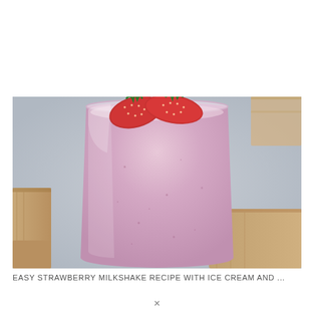[Figure (photo): A glass filled with pink strawberry milkshake topped with fresh sliced strawberries, placed on a wooden surface with wooden planks visible in the background and foreground.]
EASY STRAWBERRY MILKSHAKE RECIPE WITH ICE CREAM AND ...